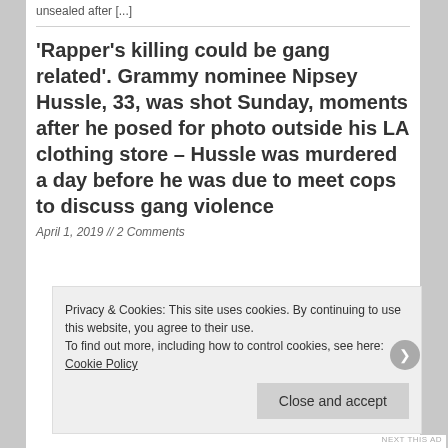unsealed after [...]
'Rapper's killing could be gang related'. Grammy nominee Nipsey Hussle, 33, was shot Sunday, moments after he posed for photo outside his LA clothing store – Hussle was murdered a day before he was due to meet cops to discuss gang violence
April 1, 2019 // 2 Comments
Privacy & Cookies: This site uses cookies. By continuing to use this website, you agree to their use.
To find out more, including how to control cookies, see here: Cookie Policy
Close and accept